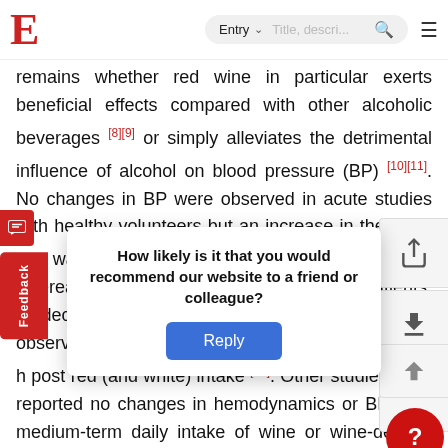E | Entry ∨ Title, descri... 🔍 ≡
remains whether red wine in particular exerts beneficial effects compared with other alcoholic beverages [8][9] or simply alleviates the detrimental influence of alcohol on blood pressure (BP) [10][11]. No changes in BP were observed in acute studies with healthy volunteers but an increase in the heart rate was reported after red wine consumption [12][13], whereas in coronary artery disease (CAD) patients, a decrease in systolic and diastolic BP was observed together with an increase in heart rate, 1 h post red (and white) intake [14]. Other studies have reported no changes in hemodynamics or BP after medium-term daily intake of wine or wine-derived alcoholic beverages in prevalent [16]. Overall results from the literature are promising and further
How likely is it that you would recommend our website to a friend or colleague?
Reply